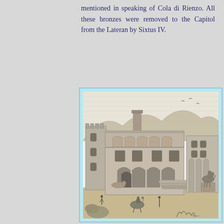mentioned in speaking of Cola di Rienzo. All these bronzes were removed to the Capitol from the Lateran by Sixtus IV.
[Figure (illustration): Historical engraving showing a Renaissance-era building (likely the Capitoline Hill or a Roman palace) with a tower on the left, an ornate main facade with arches and decorative elements, a large staircase, and figures including a horseman in the foreground. On the right side, a colonnaded structure and an equestrian statue on a pedestal are visible. A small inscription 'H. Car[t]...' appears in the lower right corner.]